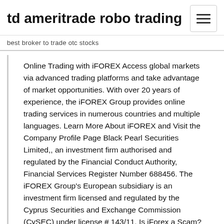td ameritrade robo trading
best broker to trade otc stocks
Online Trading with iFOREX Access global markets via advanced trading platforms and take advantage of market opportunities. With over 20 years of experience, the iFOREX Group provides online trading services in numerous countries and multiple languages. Learn More About iFOREX and Visit the Company Profile Page Black Pearl Securities Limited,, an investment firm authorised and regulated by the Financial Conduct Authority, Financial Services Register Number 688456. The iFOREX Group's European subsidiary is an investment firm licensed and regulated by the Cyprus Securities and Exchange Commission (CySEC) under license # 143/11. Is iForex a Scam? - Should You Trust Your Money with Them? Feb 04, 2016 · Description: iForex is supposed to have been founded by a group of bankers in 1996 and then taken online in 2004 and it steadily grew in popularity since then. It claims to deal with hundreds of billions of dollars a year.